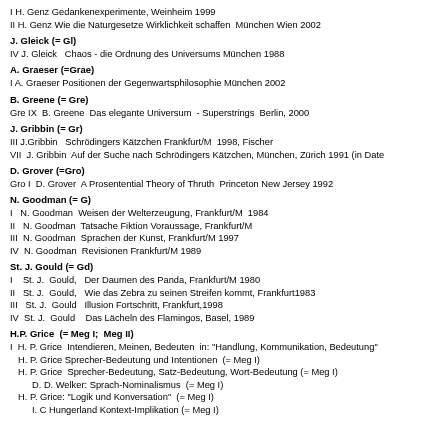I H. Genz Gedankenexperimente, Weinheim 1999
II H. Genz Wie die Naturgesetze Wirklichkeit schaffen  München Wien 2002
J. Gleick (= Gl)
IV J. Gleick   Chaos - die Ordnung des Universums München 1988
A. Graeser (=Grae)
I A. Graeser Positionen der Gegenwartsphilosophie München 2002
B. Greene (= Gre)
Gre IX  B. Greene  Das elegante Universum  - Superstrings  Berlin, 2000
J. Gribbin (= Gr)
III J.Gribbin   Schrödingers Kätzchen Frankfurt/M  1998, Fischer
VII  J. Gribbin  Auf der Suche nach Schrödingers Kätzchen, München, Zürich 1991 (in Date
D. Grover (=Gro)
Gro I  D. Grover  A Prosentential Theory of Thruth  Princeton New Jersey 1992
N. Goodman (= G)
I   N. Goodman  Weisen der Welterzeugung, Frankfurt/M  1984
II   N. Goodman  Tatsache Fiktion Voraussage, Frankfurt/M
III  N. Goodman  Sprachen der Kunst, Frankfurt/M 1997
IV  N. Goodman  Revisionen Frankfurt/M 1989
St. J. Gould (= Gd)
I    St. J.  Gould,   Der Daumen des Panda, Frankfurt/M 1980
II   St. J.  Gould,   Wie das Zebra zu seinen Streifen kommt, Frankfurt1983
III   St. J.  Gould   Illusion Fortschritt, Frankfurt,1998
IV  St. J.  Gould    Das Lächeln des Flamingos, Basel, 1989
H.P. Grice  (= Meg I;  Meg II)
I  H. P. Grice  Intendieren, Meinen, Bedeuten  in: "Handlung, Kommunikation, Bedeutung"
H. P. Grice Sprecher-Bedeutung und Intentionen  (= Meg I)
H. P. Grice  Sprecher-Bedeutung, Satz-Bedeutung, Wort-Bedeutung (= Meg I)
D. D. Welker: Sprach-Nominalismus  (= Meg I)
H. P. Grice: "Logik und Konversation"  (= Meg I)
I. C Hungerland Kontext-Implikation (= Meg I)